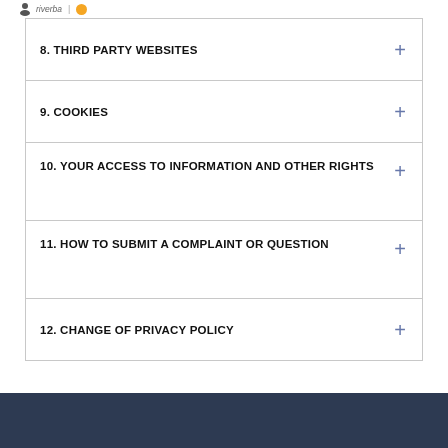riverba | logo
8. THIRD PARTY WEBSITES
9. COOKIES
10. YOUR ACCESS TO INFORMATION AND OTHER RIGHTS
11. HOW TO SUBMIT A COMPLAINT OR QUESTION
12. CHANGE OF PRIVACY POLICY